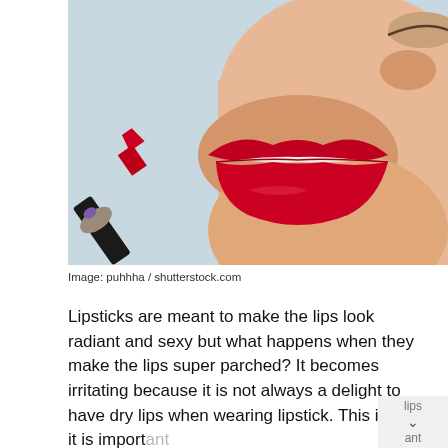[Figure (photo): Close-up photo of a woman's lips with bold red lipstick being applied by a red lipstick bullet held in a hand with purple nail polish, against a light blue background.]
Image: puhhha / shutterstock.com
Lipsticks are meant to make the lips look radiant and sexy but what happens when they make the lips super parched? It becomes irritating because it is not always a delight to have dry lips when wearing lipstick. This is why it is important to always use the best quality of matte lipstick to